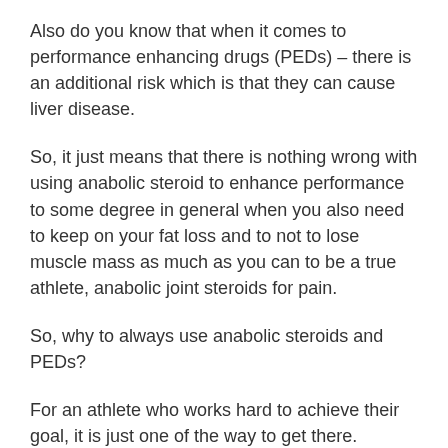Also do you know that when it comes to performance enhancing drugs (PEDs) – there is an additional risk which is that they can cause liver disease.
So, it just means that there is nothing wrong with using anabolic steroid to enhance performance to some degree in general when you also need to keep on your fat loss and to not to lose muscle mass as much as you can to be a true athlete, anabolic joint steroids for pain.
So, why to always use anabolic steroids and PEDs?
For an athlete who works hard to achieve their goal, it is just one of the way to get there.
You might also enjoy reading: